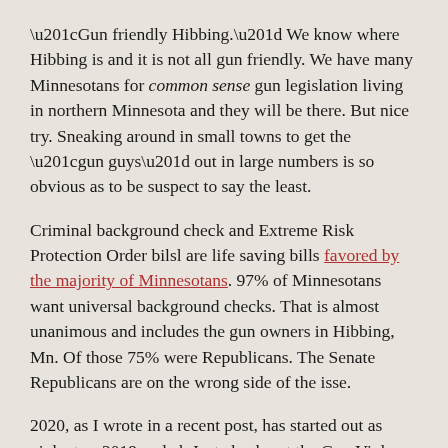“Gun friendly Hibbing.” We know where Hibbing is and it is not all gun friendly. We have many Minnesotans for common sense gun legislation living in northern Minnesota and they will be there. But nice try. Sneaking around in small towns to get the “gun guys” out in large numbers is so obvious as to be suspect to say the least.
Criminal background check and Extreme Risk Protection Order bilsl are life saving bills favored by the majority of Minnesotans. 97% of Minnesotans want universal background checks. That is almost unanimous and includes the gun owners in Hibbing, Mn. Of those 75% were Republicans. The Senate Republicans are on the wrong side of the isse.
2020, as I wrote in a recent post, has started out as violent as 2019 ended. Just check out the Gun Violence Archive for the latest information about shootings.
There is hope. There is a change in the issue of gun violence. The NRA is weak, pathetic and corrupt. Our